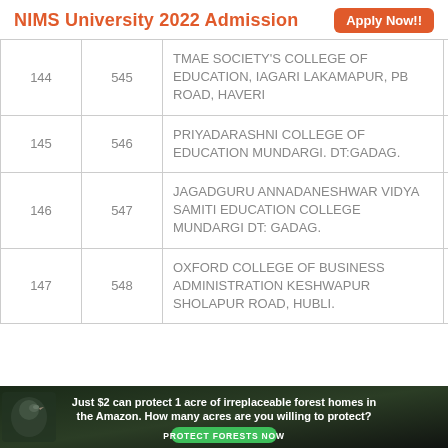NIMS University 2022 Admission   Apply Now!!
|  |  | College Name | District |
| --- | --- | --- | --- |
| 144 | 545 | TMAE SOCIETY'S COLLEGE OF EDUCATION, IAGARI LAKAMAPUR, PB ROAD, HAVERI | H |
| 145 | 546 | PRIYADARASHNI COLLEGE OF EDUCATION MUNDARGI. DT:GADAG. | G |
| 146 | 547 | JAGADGURU ANNADANESHWAR VIDYA SAMITI EDUCATION COLLEGE MUNDARGI DT: GADAG. | G |
| 147 | 548 | OXFORD COLLEGE OF BUSINESS ADMINISTRATION KESHWAPUR SHOLAPUR ROAD, HUBLI. | D |
[Figure (infographic): Advertisement banner: 'Just $2 can protect 1 acre of irreplaceable forest homes in the Amazon. How many acres are you willing to protect?' with a green PROTECT FORESTS NOW button and a bird image on dark forested background.]